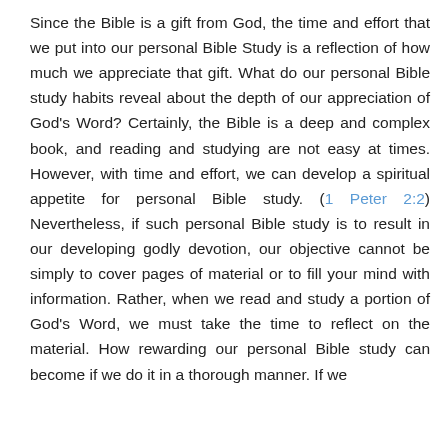Since the Bible is a gift from God, the time and effort that we put into our personal Bible Study is a reflection of how much we appreciate that gift. What do our personal Bible study habits reveal about the depth of our appreciation of God's Word? Certainly, the Bible is a deep and complex book, and reading and studying are not easy at times. However, with time and effort, we can develop a spiritual appetite for personal Bible study. (1 Peter 2:2) Nevertheless, if such personal Bible study is to result in our developing godly devotion, our objective cannot be simply to cover pages of material or to fill your mind with information. Rather, when we read and study a portion of God's Word, we must take the time to reflect on the material. How rewarding our personal Bible study can become if we do it in a thorough manner. If we